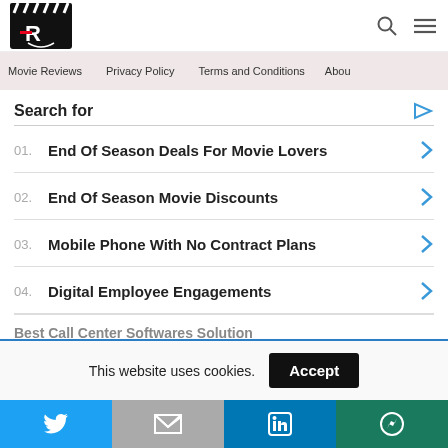[Figure (logo): Movie review website logo with film clapper and letter R]
Movie Reviews  Privacy Policy  Terms and Conditions  Abou
Search for
01.  End Of Season Deals For Movie Lovers
02.  End Of Season Movie Discounts
03.  Mobile Phone With No Contract Plans
04.  Digital Employee Engagements
Best Call Center Softwares Solution
This website uses cookies.  Accept
Twitter  Gmail  LinkedIn  WhatsApp